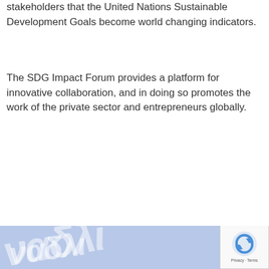stakeholders that the United Nations Sustainable Development Goals become world changing indicators.
The SDG Impact Forum provides a platform for innovative collaboration, and in doing so promotes the work of the private sector and entrepreneurs globally.
[Figure (other): Light blue footer banner with white watermark text showing partial logo/text and a reCAPTCHA badge in the bottom right corner with Privacy and Terms links]